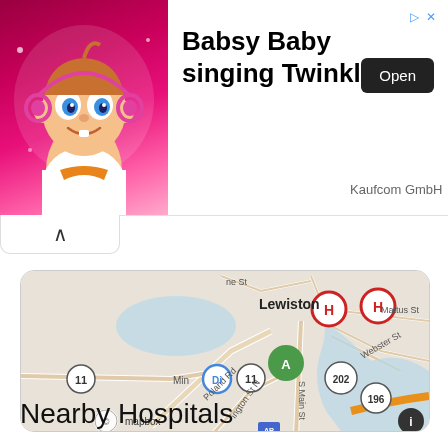[Figure (screenshot): Advertisement banner for 'Babsy Baby singing Twinkle' app by Kaufcom GmbH, showing an animated baby character on pink background with an Open button]
Babsy Baby singing Twinkle
Kaufcom GmbH
[Figure (map): Mapbox map showing Lewiston area with hospital markers (H) in red circles, location marker A in green, route markers 11, 202, 196, and streets including Poland Rd, S Main St, Washington St, Webster St, Mattus St]
Nearby Hospitals